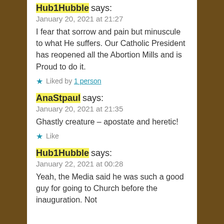Hub1Hubble says:
January 20, 2021 at 21:27
I fear that sorrow and pain but minuscule to what He suffers. Our Catholic President has reopened all the Abortion Mills and is Proud to do it.
Liked by 1 person
AnaStpaul says:
January 20, 2021 at 21:35
Ghastly creature – apostate and heretic!
Like
Hub1Hubble says:
January 22, 2021 at 00:28
Yeah, the Media said he was such a good guy for going to Church before the inauguration. Not